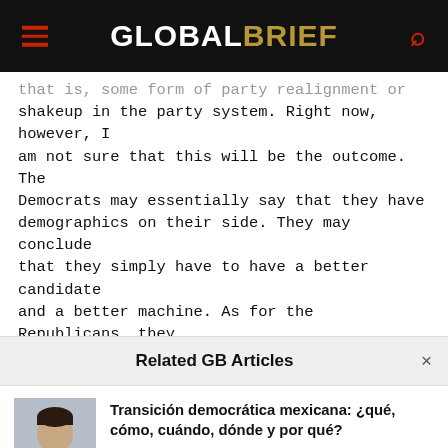GLOBALBRIEF
that is, some form of party realignment or shakeup in the party system. Right now, however, I am not sure that this will be the outcome. The Democrats may essentially say that they have demographics on their side. They may conclude that they simply have to have a better candidate and a better machine. As for the Republicans, they do not have to learn the hard lessons that they should have learned. They created the monster. Some of this may result in people disengaging from the American political process altogether. Those who speak the loudest in four years' time
Related GB Articles
Transición democrática mexicana: ¿qué, cómo, cuándo, dónde y por qué?